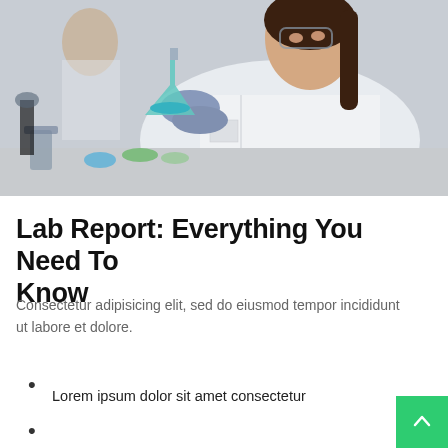[Figure (photo): A female scientist in a white lab coat and blue gloves holding up a flask with blue liquid in a laboratory setting. Other lab workers and equipment visible in background.]
Lab Report: Everything You Need To Know
Consectetur adipisicing elit, sed do eiusmod tempor incididunt ut labore et dolore.
Lorem ipsum dolor sit amet consectetur